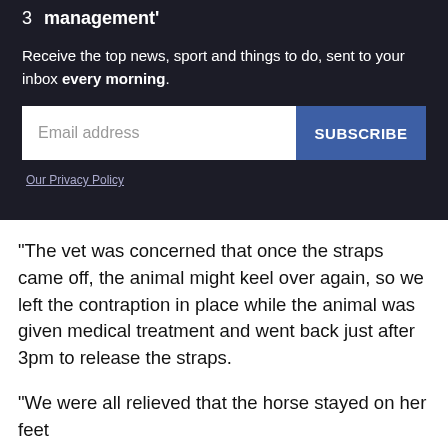3  management'
Receive the top news, sport and things to do, sent to your inbox every morning.
[Figure (screenshot): Email subscription form with text input field labeled 'Email address' and a blue 'SUBSCRIBE' button]
Our Privacy Policy
“The vet was concerned that once the straps came off, the animal might keel over again, so we left the contraption in place while the animal was given medical treatment and went back just after 3pm to release the straps.
“We were all relieved that the horse stayed on her feet and went off for a night out to spend the on her